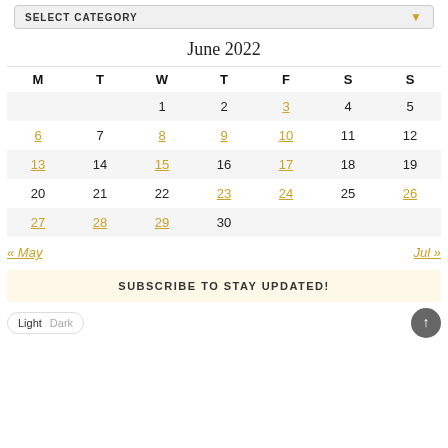SELECT CATEGORY
June 2022
| M | T | W | T | F | S | S |
| --- | --- | --- | --- | --- | --- | --- |
|  |  | 1 | 2 | 3 | 4 | 5 |
| 6 | 7 | 8 | 9 | 10 | 11 | 12 |
| 13 | 14 | 15 | 16 | 17 | 18 | 19 |
| 20 | 21 | 22 | 23 | 24 | 25 | 26 |
| 27 | 28 | 29 | 30 |  |  |  |
« May    Jul »
SUBSCRIBE TO STAY UPDATED!